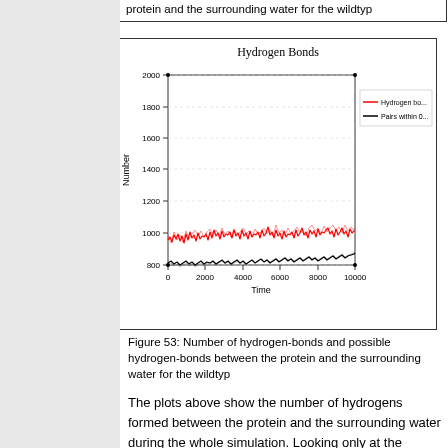protein and the surrounding water for the wildtyp
[Figure (line-chart): Hydrogen Bonds]
Figure 53: Number of hydrogen-bonds and possible hydrogen-bonds between the protein and the surrounding water for the wildtyp
The plots above show the number of hydrogens formed between the protein and the surrounding water during the whole simulation. Looking only at the hydrogen bonds itself we